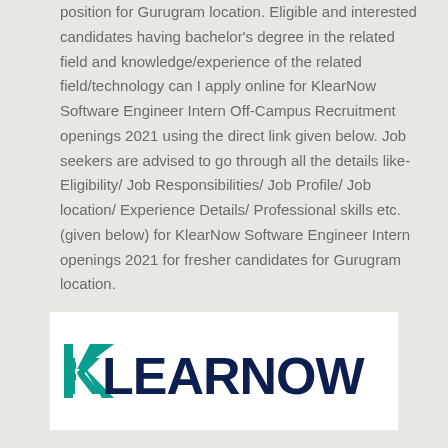position for Gurugram location. Eligible and interested candidates having bachelor's degree in the related field and knowledge/experience of the related field/technology can I apply online for KlearNow Software Engineer Intern Off-Campus Recruitment openings 2021 using the direct link given below. Job seekers are advised to go through all the details like- Eligibility/ Job Responsibilities/ Job Profile/ Job location/ Experience Details/ Professional skills etc. (given below) for KlearNow Software Engineer Intern openings 2021 for fresher candidates for Gurugram location.
[Figure (logo): KlearNow logo in teal and dark navy on white background]